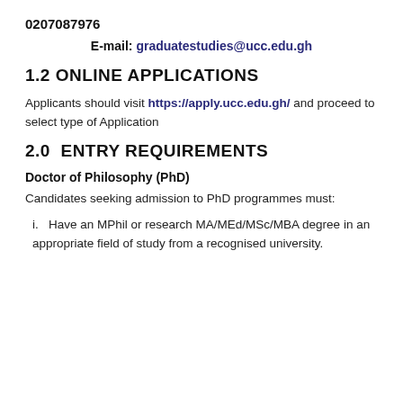0207087976
E-mail: graduatestudies@ucc.edu.gh
1.2 ONLINE APPLICATIONS
Applicants should visit https://apply.ucc.edu.gh/ and proceed to select type of Application
2.0  ENTRY REQUIREMENTS
Doctor of Philosophy (PhD)
Candidates seeking admission to PhD programmes must:
i.   Have an MPhil or research MA/MEd/MSc/MBA degree in an appropriate field of study from a recognised university.